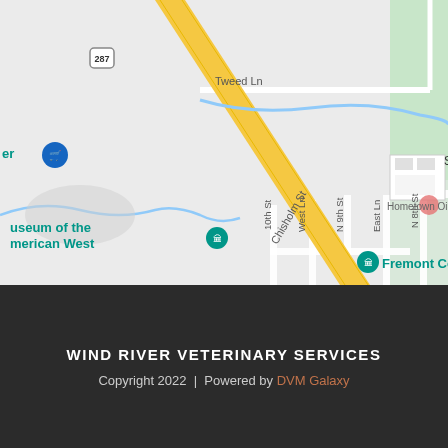[Figure (map): Google Maps screenshot showing area around Wind River Veterinary Services in Lander, Wyoming. Shows streets including Tweed Ln, Tiger Dr, North Ln, 10th St, West Ln, N 9th St, East Ln, N 8th St, and Chisholm St. Landmarks include Museum of the American West, Hometown Oil, Lander Middle School, and Fremont County. A diagonal yellow highway (287) runs through the map. A river/creek shown in blue winds through the area. A pink location pin for Wind River Veterinary Services (CLOSED) is visible at top.]
WIND RIVER VETERINARY SERVICES
Copyright 2022  |  Powered by DVM Galaxy